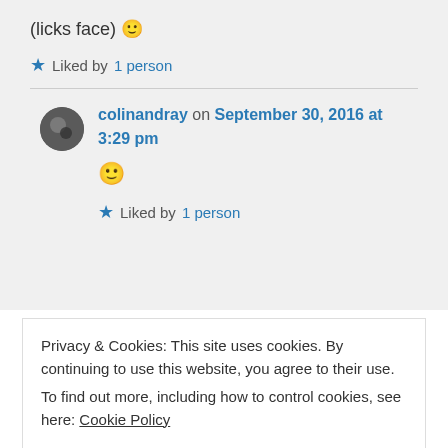(licks face) 🙂
★ Liked by 1 person
colinandray on September 30, 2016 at 3:29 pm
🙂
★ Liked by 1 person
Privacy & Cookies: This site uses cookies. By continuing to use this website, you agree to their use.
To find out more, including how to control cookies, see here: Cookie Policy
Close and accept